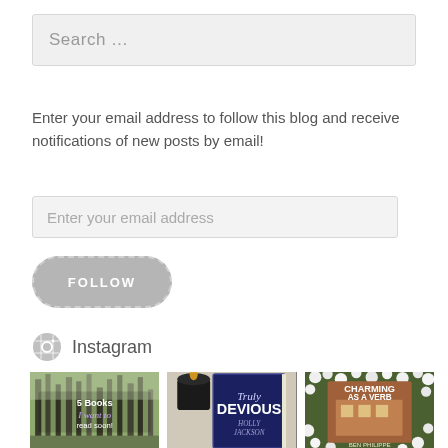Search …
Enter your email address to follow this blog and receive notifications of new posts by email!
Enter your email address
FOLLOW
Instagram
[Figure (photo): Three Instagram photos: a forest scene with '5 Books I want to read soon!' text overlay, a blue book 'Truly Devious' beside a candle, and 'Charming as a Verb' book cover surrounded by white flowers]
5 Books I want to read soon!
Truly Devious
Charming As A Verb